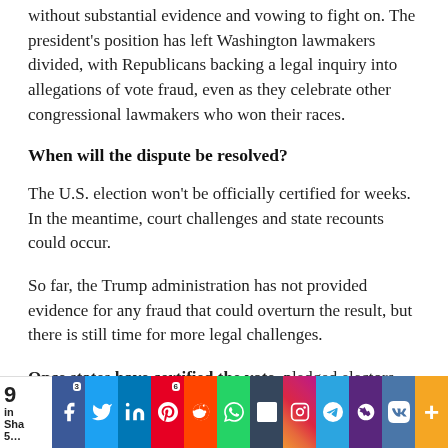without substantial evidence and vowing to fight on. The president's position has left Washington lawmakers divided, with Republicans backing a legal inquiry into allegations of vote fraud, even as they celebrate other congressional lawmakers who won their races.
When will the dispute be resolved?
The U.S. election won't be officially certified for weeks. In the meantime, court challenges and state recounts could occur.
So far, the Trump administration has not provided evidence for any fraud that could overturn the result, but there is still time for more legal challenges.
Once states have certified the vote, pledged electors then cast their votes in the Electoral College.